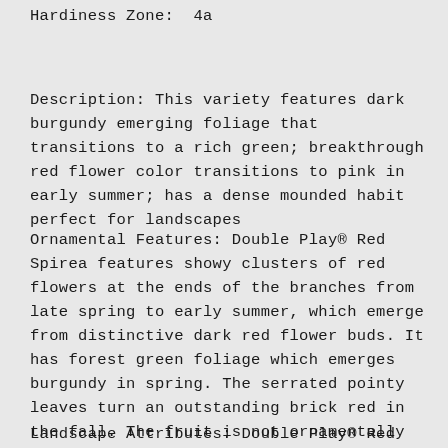Hardiness Zone:  4a
Description: This variety features dark burgundy emerging foliage that transitions to a rich green; breakthrough red flower color transitions to pink in early summer; has a dense mounded habit perfect for landscapes
Ornamental Features: Double Play® Red Spirea features showy clusters of red flowers at the ends of the branches from late spring to early summer, which emerge from distinctive dark red flower buds. It has forest green foliage which emerges burgundy in spring. The serrated pointy leaves turn an outstanding brick red in the fall. The fruit is not ornamentally significant.
Landscape Attributes: Double Play® Red Spirea is a multi-